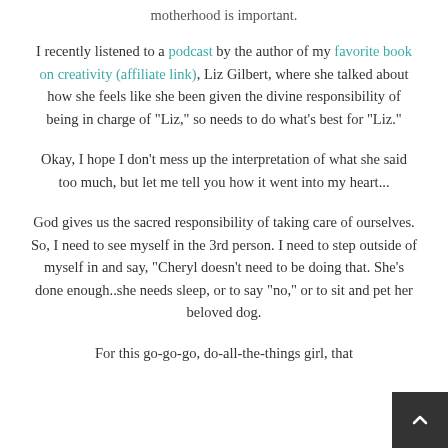motherhood is important.
I recently listened to a podcast by the author of my favorite book on creativity (affiliate link), Liz Gilbert, where she talked about how she feels like she been given the divine responsibility of being in charge of "Liz," so needs to do what's best for "Liz."
Okay, I hope I don't mess up the interpretation of what she said too much, but let me tell you how it went into my heart...
God gives us the sacred responsibility of taking care of ourselves. So, I need to see myself in the 3rd person. I need to step outside of myself in and say, "Cheryl doesn't need to be doing that. She's done enough..she needs sleep, or to say "no," or to sit and pet her beloved dog.
For this go-go-go, do-all-the-things girl, that